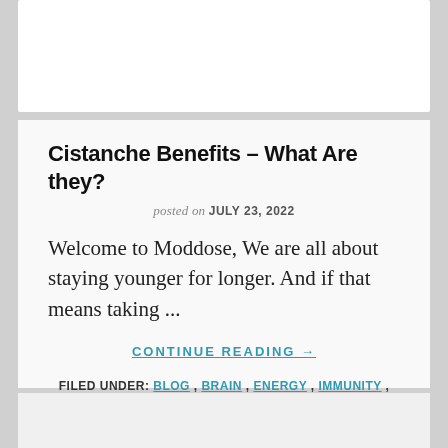Cistanche Benefits – What Are they?
posted on JULY 23, 2022
Welcome to Moddose, We are all about staying younger for longer. And if that means taking ...
CONTINUE READING →
FILED UNDER: BLOG , BRAIN , ENERGY , IMMUNITY , SEX TAGGED WITH: CISTANCHE BENEFITS , LOST EMPIRE HERBS